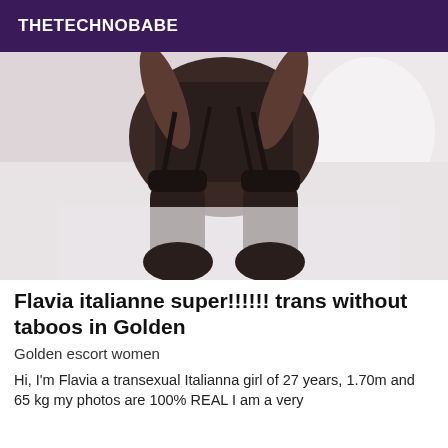THETECHNOBABE
[Figure (photo): A person in black lingerie and stockings kneeling on a white bed]
Flavia italianne super!!!!!! trans without taboos in Golden
Golden escort women
Hi, I'm Flavia a transexual Italianna girl of 27 years, 1.70m and 65 kg my photos are 100% REAL I am a very